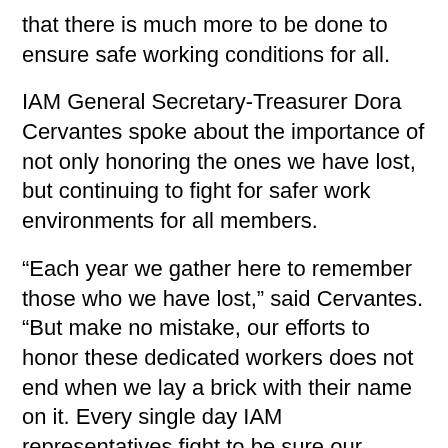that there is much more to be done to ensure safe working conditions for all.
IAM General Secretary-Treasurer Dora Cervantes spoke about the importance of not only honoring the ones we have lost, but continuing to fight for safer work environments for all members.
“Each year we gather here to remember those who we have lost,” said Cervantes. “But make no mistake, our efforts to honor these dedicated workers does not end when we lay a brick with their name on it. Every single day IAM representatives fight to be sure our workplaces are as safe as possible.”
IAM General Vice President Rickey Wallace delivered the ceremony’s closing comments.
“We hope to see you on Brothers and Sisters and